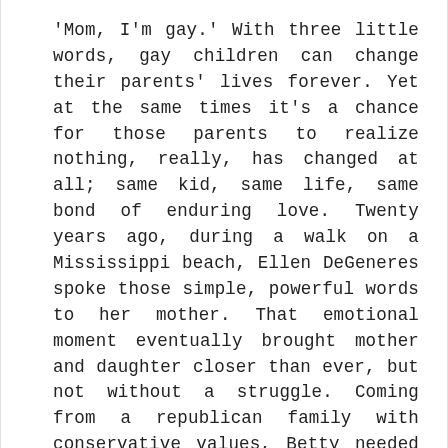'Mom, I'm gay.' With three little words, gay children can change their parents' lives forever. Yet at the same times it's a chance for those parents to realize nothing, really, has changed at all; same kid, same life, same bond of enduring love. Twenty years ago, during a walk on a Mississippi beach, Ellen DeGeneres spoke those simple, powerful words to her mother. That emotional moment eventually brought mother and daughter closer than ever, but not without a struggle. Coming from a republican family with conservative values, Betty needed time and education to understand her daughter's homosexuality -- but her ultimate acceptance would set the stage for a far more public coming out, one that would change history. In Love, Ellen, Betty DeGeneres tells her story; the complicated path to acceptance and